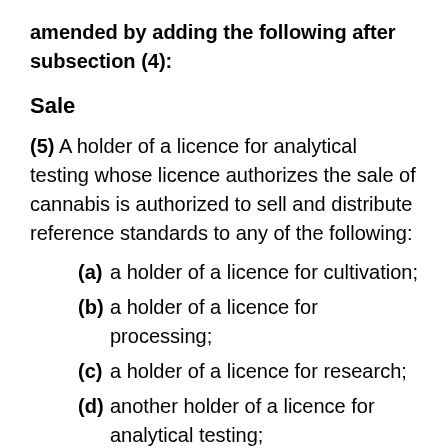amended by adding the following after subsection (4):
Sale
(5) A holder of a licence for analytical testing whose licence authorizes the sale of cannabis is authorized to sell and distribute reference standards to any of the following:
(a) a holder of a licence for cultivation;
(b) a holder of a licence for processing;
(c) a holder of a licence for research;
(d) another holder of a licence for analytical testing;